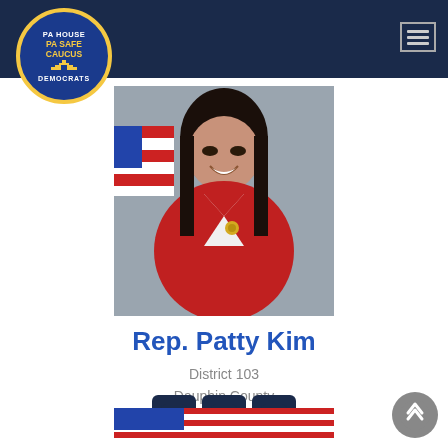[Figure (logo): PA House PA Safe Caucus Democrats circular logo with gold border on blue background]
[Figure (photo): Portrait photo of Rep. Patty Kim in red jacket with American flag in background]
Rep. Patty Kim
District 103
Dauphin County
[Figure (infographic): Social media icons: Facebook, Twitter, YouTube in dark navy rounded square buttons]
[Figure (photo): Partial bottom image strip showing American flag]
[Figure (other): Back to top button - grey circle with up chevron]